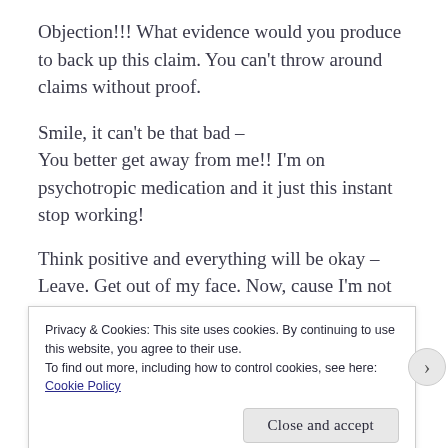Objection!!! What evidence would you produce to back up this claim. You can’t throw around claims without proof.
Smile, it can’t be that bad –
You better get away from me!! I’m on psychotropic medication and it just this instant stop working!
Think positive and everything will be okay –
Leave. Get out of my face. Now, cause I’m not afraid to go back to prison.
Privacy & Cookies: This site uses cookies. By continuing to use this website, you agree to their use.
To find out more, including how to control cookies, see here: Cookie Policy
Close and accept